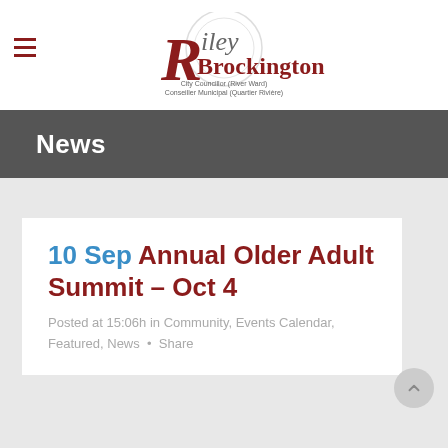Riley Brockington — City Councillor (River Ward) / Conseiller Municipal (Quartier Rivière)
News
10 Sep Annual Older Adult Summit – Oct 4
Posted at 15:06h in Community, Events Calendar, Featured, News • Share